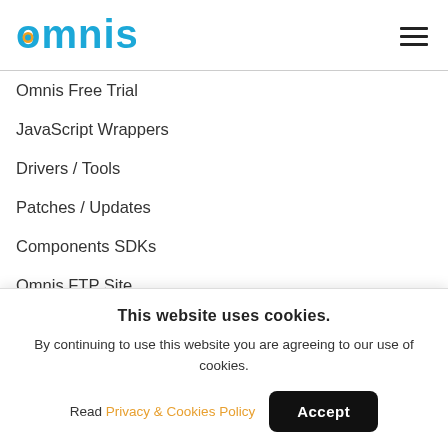[Figure (logo): Omnis logo in blue and orange]
Omnis Free Trial
JavaScript Wrappers
Drivers / Tools
Patches / Updates
Components SDKs
Omnis FTP Site
ABOUT US
This website uses cookies.
By continuing to use this website you are agreeing to our use of cookies.
Read Privacy & Cookies Policy
Accept